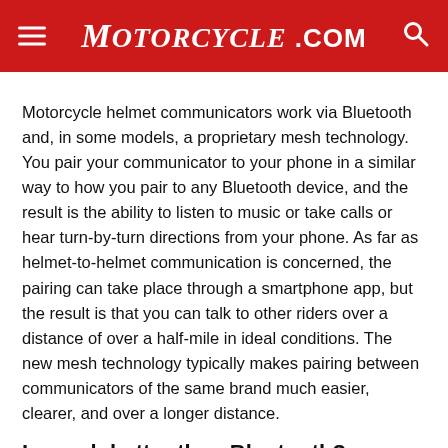MOTORCYCLE.COM
Motorcycle helmet communicators work via Bluetooth and, in some models, a proprietary mesh technology. You pair your communicator to your phone in a similar way to how you pair to any Bluetooth device, and the result is the ability to listen to music or take calls or hear turn-by-turn directions from your phone. As far as helmet-to-helmet communication is concerned, the pairing can take place through a smartphone app, but the result is that you can talk to other riders over a distance of over a half-mile in ideal conditions. The new mesh technology typically makes pairing between communicators of the same brand much easier, clearer, and over a longer distance.
Is mesh better than Bluetooth?
[Figure (other): Advertisement placeholder with dotted pattern background and reCAPTCHA badge]